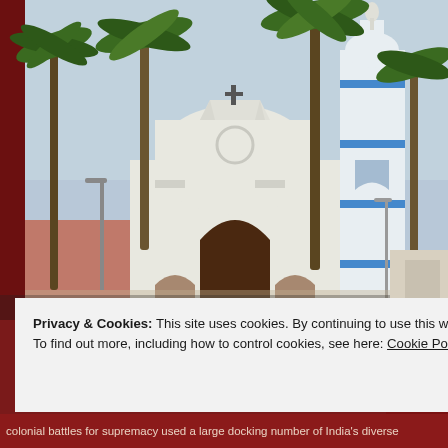[Figure (photo): Photograph of a white colonial-style church with Gothic arched entrance and a cross on top, flanked by tall palm trees. To the right is a blue and white church tower/steeple with a statue at the top. Sky is hazy blue, street lamps visible, typical South Indian coastal church setting.]
Privacy & Cookies: This site uses cookies. By continuing to use this website, you agree to their use.
To find out more, including how to control cookies, see here: Cookie Policy
Close and accept
colonial battles for supremacy used a large docking number of India's diverse